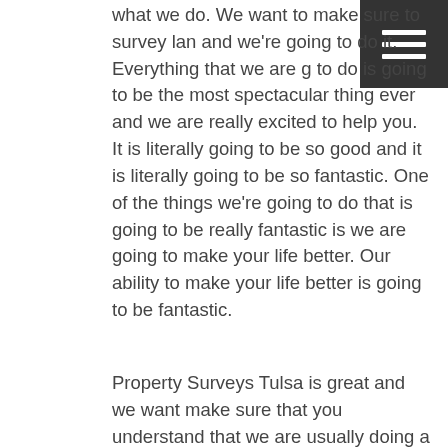what we do. We want to make sure to survey lan and we're going to do it. Everything that we are g to do is going to be the most spectacular thing ever and we are really excited to help you. It is literally going to be so good and it is literally going to be so fantastic. One of the things we're going to do that is going to be really fantastic is we are going to make your life better. Our ability to make your life better is going to be fantastic.
Property Surveys Tulsa is great and we want make sure that you understand that we are usually doing a great job. We are usually doing a great job because of the we insist you do. That is excessive what we're going to do and we know that you are going to love it. Google and love it because we're going to do a good job and you are going to love it because we are going to do a great job. We know that we are going to do good things, and one of the things that we are going